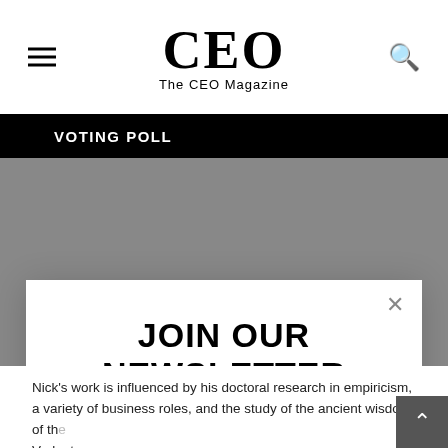CEO
The CEO Magazine
VOTING POLL
JOIN OUR NEWSLETTER
Join our subscribers list to get the latest news, updates and special offers directly in your inbox
Email Address
Subscribe
No, thanks
Nick's work is influenced by his doctoral research in empiricism, a variety of business roles, and the study of the ancient wisdom of the Vedanta.